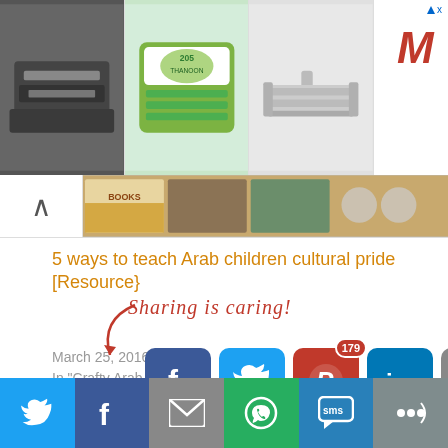[Figure (screenshot): Advertisement banner with three product images (medical device, wet wipes package, industrial pneumatic cylinder) and a logo M on the right with close/skip button]
[Figure (screenshot): Thumbnail strip showing book covers with an up arrow navigation button on the left]
5 ways to teach Arab children cultural pride [Resource}
March 25, 2016
In “Crafty Arab Resource”
Sharing is caring!
[Figure (screenshot): Social sharing buttons row: Facebook, Twitter, Pinterest (179 shares badge), LinkedIn, Email, More]
[Figure (screenshot): Bottom sharing bar with Twitter, Facebook, Email, WhatsApp, SMS, More buttons]